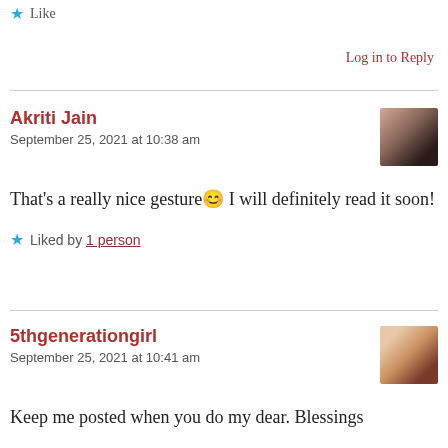★ Like
Log in to Reply
Akriti Jain
September 25, 2021 at 10:38 am
That's a really nice gesture😊 I will definitely read it soon!
★ Liked by 1 person
5thgenerationgirl
September 25, 2021 at 10:41 am
Keep me posted when you do my dear. Blessings